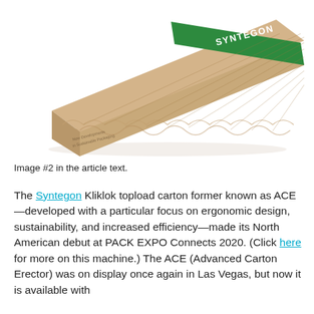[Figure (photo): A corrugated cardboard/paper-based tray or separator insert product with zigzag wave profile, tan/kraft color body with green diagonal stripe bearing the white text 'SYNTEGON'. Small text on the side reads 'New Developments in Sustainable Packaging'.]
Image #2 in the article text.
The Syntegon Kliklok topload carton former known as ACE—developed with a particular focus on ergonomic design, sustainability, and increased efficiency—made its North American debut at PACK EXPO Connects 2020. (Click here for more on this machine.) The ACE (Advanced Carton Erector) was on display once again in Las Vegas, but now it is available with